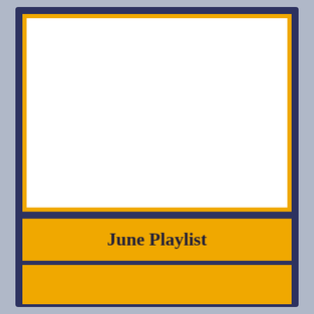[Figure (other): White rectangular image placeholder area with gold/yellow border on dark navy background]
June Playlist
[Figure (other): Golden/amber colored bottom band area, empty content region]